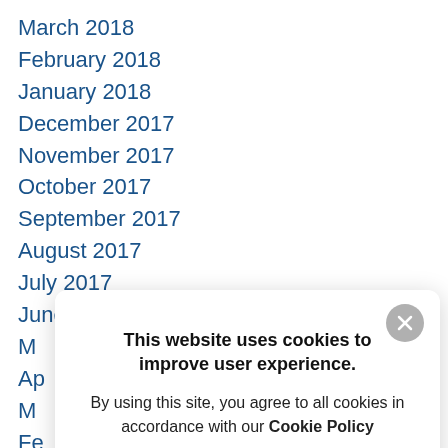March 2018
February 2018
January 2018
December 2017
November 2017
October 2017
September 2017
August 2017
July 2017
June 2017
M
Ap
M
Fe
Ja
De
N
O
This website uses cookies to improve user experience.
By using this site, you agree to all cookies in accordance with our Cookie Policy